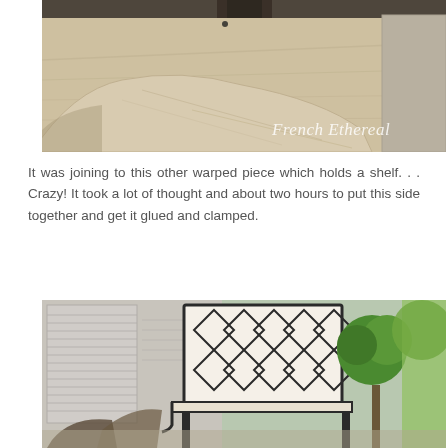[Figure (photo): Close-up photo of a warped wooden furniture piece/shelf bracket, showing worn and scratched light-colored wood grain surface. A watermark reading 'French Ethereal' in cursive script is visible in the lower right corner.]
It was joining to this other warped piece which holds a shelf. . . Crazy! It took a lot of thought and about two hours to put this side together and get it glued and clamped.
[Figure (photo): Outdoor porch/patio scene showing a decorative black metal bench with diamond lattice back design, flanked by a window with white shutters on the left and green topiary/plants on the right. Wicker furniture visible in foreground.]